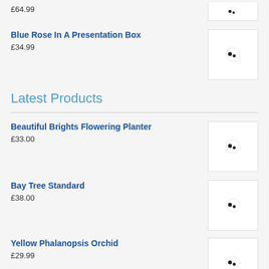£64.99
Blue Rose In A Presentation Box
£34.99
Latest Products
Beautiful Brights Flowering Planter
£33.00
Bay Tree Standard
£38.00
Yellow Phalanopsis Orchid
£29.99